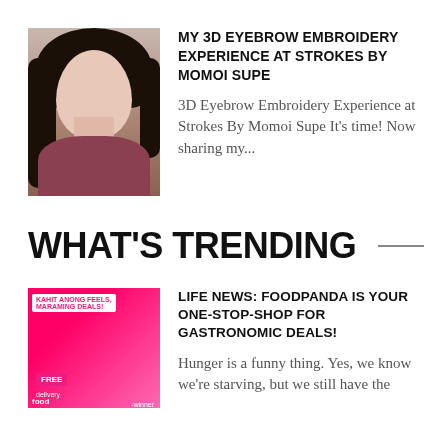[Figure (photo): Portrait photo of a young Asian woman with long dark hair, wearing a dark reddish outfit, posing with hand near chin]
MY 3D EYEBROW EMBROIDERY EXPERIENCE AT STROKES BY MOMOI SUPE
3D Eyebrow Embroidery Experience at Strokes By Momoi Supe It's time! Now sharing my...
WHAT'S TRENDING
[Figure (photo): Foodpanda promotional banner with pink background showing free delivery offers and deals. Text includes 'Kahit anong feels, maraming deals!', 'FREE delivery', 'food', '-winner']
LIFE NEWS: FOODPANDA IS YOUR ONE-STOP-SHOP FOR GASTRONOMIC DEALS!
Hunger is a funny thing. Yes, we know we're starving, but we still have the